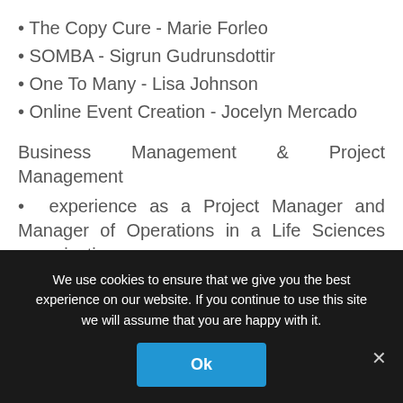• The Copy Cure - Marie Forleo
• SOMBA - Sigrun Gudrunsdottir
• One To Many - Lisa Johnson
• Online Event Creation - Jocelyn Mercado
Business Management & Project Management
• experience as a Project Manager and Manager of Operations in a Life Sciences organisation
• Operational Excellence - TIAS Business
We use cookies to ensure that we give you the best experience on our website. If you continue to use this site we will assume that you are happy with it.